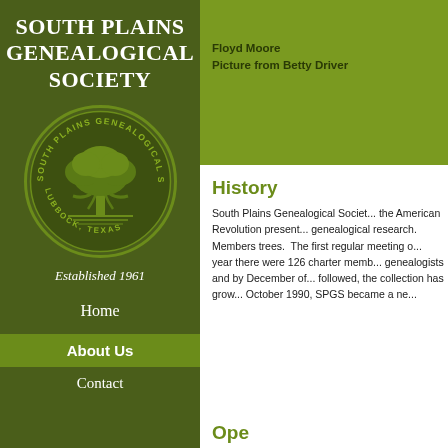SOUTH PLAINS GENEALOGICAL SOCIETY
[Figure (logo): South Plains Genealogical Society circular seal with tree design, Lubbock Texas]
Established 1961
Home
About Us
Contact
Floyd Moore
Picture from Betty Driver
History
South Plains Genealogical Societ... the American Revolution present... genealogical research. Members trees. The first regular meeting o... year there were 126 charter memb... genealogists and by December of... followed, the collection has grow... October 1990, SPGS became a ne...
Ope